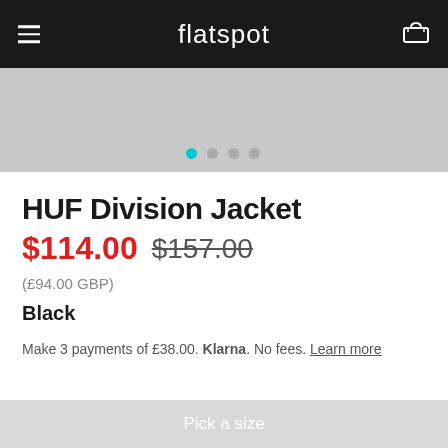flatspot
[Figure (photo): Product image carousel showing HUF Division Jacket with navigation dots below]
HUF Division Jacket
$114.00  $157.00
(£94.00 GBP)
Black
Make 3 payments of £38.00. Klarna. No fees. Learn more
Pick a size